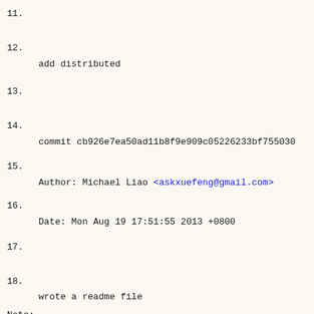11.
12.
    add distributed
13.
14.
    commit cb926e7ea50ad11b8f9e909c05226233bf755030
15.
    Author: Michael Liao <askxuefeng@gmail.com>
16.
    Date: Mon Aug 19 17:51:55 2013 +0800
17.
18.
    wrote a readme file
Note: